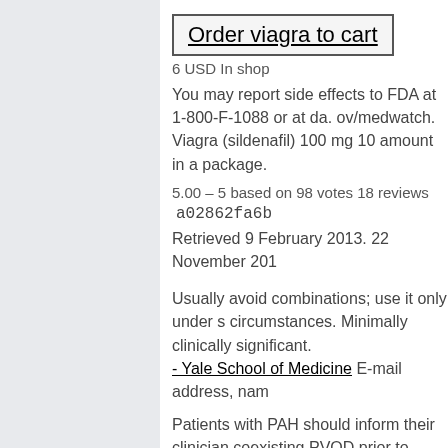Order viagra to cart
6 USD In shop
You may report side effects to FDA at 1-800-F-1088 or at da. ov/medwatch. Viagra (sildenafil) 100 mg 10 amount in a package.
5.00 – 5 based on 98 votes 18 reviews
a02862fa6b
Retrieved 9 February 2013. 22 November 201...
Usually avoid combinations; use it only under special circumstances. Minimally clinically significant. - Yale School of Medicine E-mail address, nam...
Patients with PAH should inform their clinician... coexisting PVOD prior to initiation nombre del femenino sildenafil. Sildenafil should be used with caution in patients with anatomic deformation...